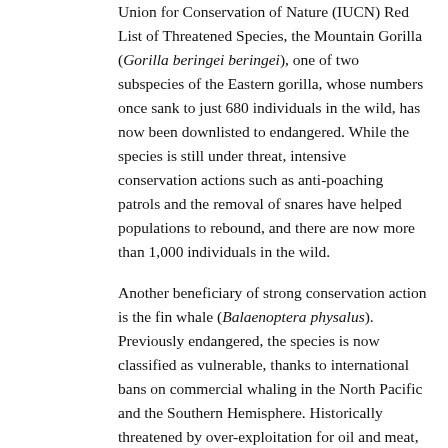Union for Conservation of Nature (IUCN) Red List of Threatened Species, the Mountain Gorilla (Gorilla beringei beringei), one of two subspecies of the Eastern gorilla, whose numbers once sank to just 680 individuals in the wild, has now been downlisted to endangered. While the species is still under threat, intensive conservation actions such as anti-poaching patrols and the removal of snares have helped populations to rebound, and there are now more than 1,000 individuals in the wild.
Another beneficiary of strong conservation action is the fin whale (Balaenoptera physalus). Previously endangered, the species is now classified as vulnerable, thanks to international bans on commercial whaling in the North Pacific and the Southern Hemisphere. Historically threatened by over-exploitation for oil and meat, the global